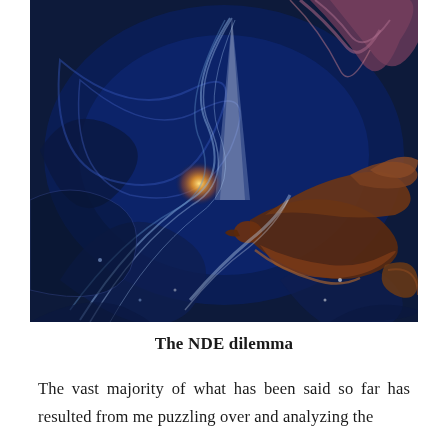[Figure (illustration): A vivid painting depicting a bird (possibly a phoenix or dove) soaring through a cosmic swirl of deep blue, with a brilliant white light source at the top and glowing gold-yellow energy in the center, surrounded by swirling feather-like streaks of color including purple, brown, and white.]
The NDE dilemma
The vast majority of what has been said so far has resulted from me puzzling over and analyzing the